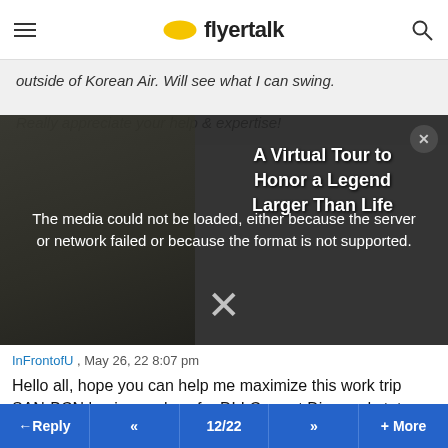flyertalk
outside of Korean Air. Will see what I can swing.

Really appreciate your help & expertise!
[Figure (screenshot): Video media error overlay on a dark background with building image. Text reads: 'The media could not be loaded, either because the server or network failed or because the format is not supported.' Overlay text on right: 'A Virtual Tour to Honor a Legend Larger Than Life'. An X dismiss button at bottom center.]
InFrontofU , May 26, 22 8:07 pm
Hello all, hope you can help me maximize this work trip SAN-BCN business class for DL! Current Diamond status, trying for renew. Main question is do i book biz class ticket direct with Delta or book essentially same flight with a partner? I see most offer 40% distance flown match to MQDs, but my current ticket price is seemingly at $9255. SAN-ATL-BCN-ATL-SAN — my take is that gives me 9,263MQD and
Reply  <<  12/22  >>  + More